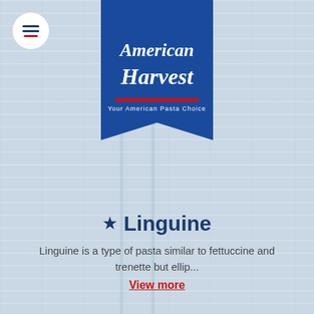[Figure (logo): American Harvest pasta brand logo on a blue banner/ribbon shape with text 'Your American Pasta Choice']
[Figure (other): Hamburger menu icon (three horizontal lines, bottom one red) in a white circular button, top-left corner]
★ Linguine
Linguine is a type of pasta similar to fettuccine and trenette but ellip...
View more